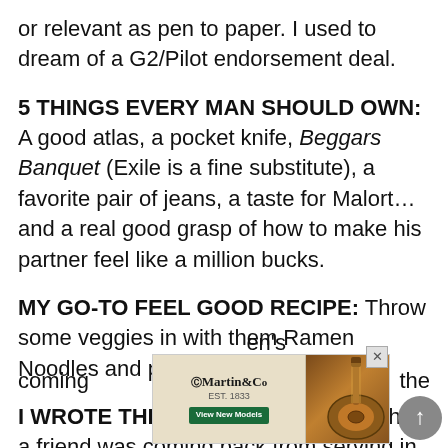or relevant as pen to paper. I used to dream of a G2/Pilot endorsement deal.
5 THINGS EVERY MAN SHOULD OWN: A good atlas, a pocket knife, Beggars Banquet (Exile is a fine substitute), a favorite pair of jeans, a taste for Malort… and a real good grasp of how to make his partner feel like a million bucks.
MY GO-TO FEEL GOOD RECIPE: Throw some veggies in with them Ramen Noodles and pass the pepper.
I WROTE THIS SONG: after hearing that a friend was coming back from serving in Iraq. I immediately started [...]en's coming [...] the
[Figure (advertisement): Martin & Co guitar advertisement banner with Martin logo, guitar image, and text NEW OPTIONS. NO LIMITS. with View New Models button]